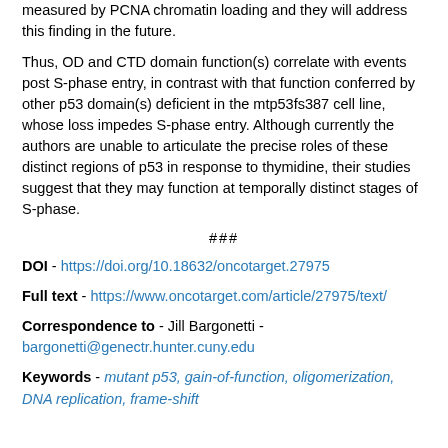measured by PCNA chromatin loading and they will address this finding in the future.
Thus, OD and CTD domain function(s) correlate with events post S-phase entry, in contrast with that function conferred by other p53 domain(s) deficient in the mtp53fs387 cell line, whose loss impedes S-phase entry. Although currently the authors are unable to articulate the precise roles of these distinct regions of p53 in response to thymidine, their studies suggest that they may function at temporally distinct stages of S-phase.
###
DOI - https://doi.org/10.18632/oncotarget.27975
Full text - https://www.oncotarget.com/article/27975/text/
Correspondence to - Jill Bargonetti - bargonetti@genectr.hunter.cuny.edu
Keywords - mutant p53, gain-of-function, oligomerization, DNA replication, frame-shift